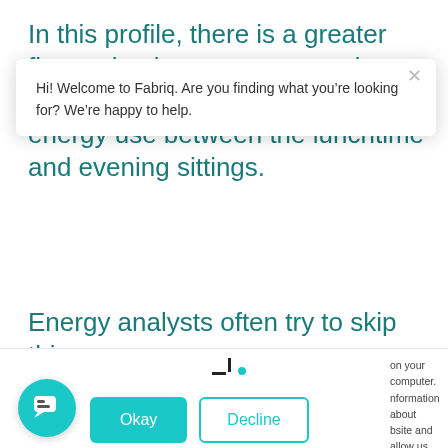In this profile, there is a greater fluctuation in energy use and more of a ‘double peak’, with a drop in energy use between the lunchtime and evening sittings.
Energy analysts often try to skip this
[Figure (screenshot): A chat widget popup from Fabriq saying 'Hi! Welcome to Fabriq. Are you finding what you’re looking for? We’re happy to help.' with a close X button, overlapping a cookie consent notice partially visible on the right. Below are Okay and Decline buttons, and a teal chat bubble icon at bottom left.]